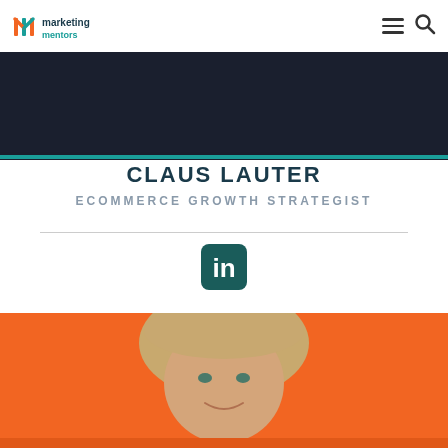Marketing Mentors — navigation bar with logo, hamburger menu, and search icon
[Figure (photo): Dark background photo (cropped top portion), with a teal bottom border strip]
CLAUS LAUTER
ECOMMERCE GROWTH STRATEGIST
[Figure (logo): LinkedIn rounded square icon in teal/dark green color]
[Figure (photo): Woman with blonde hair smiling, photographed against a bright orange background]